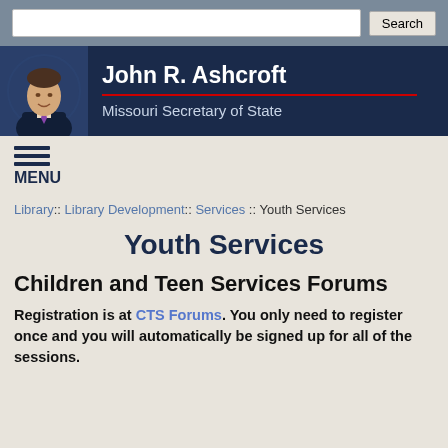Search bar
[Figure (photo): Header banner with photo of John R. Ashcroft and text 'John R. Ashcroft, Missouri Secretary of State' on dark navy background]
MENU
Library:: Library Development:: Services :: Youth Services
Youth Services
Children and Teen Services Forums
Registration is at CTS Forums. You only need to register once and you will automatically be signed up for all of the sessions.